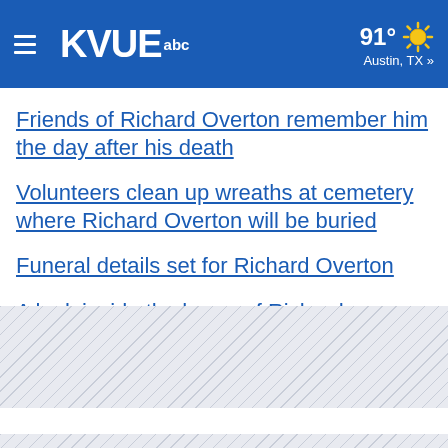KVUE abc | 91° Austin, TX »
Friends of Richard Overton remember him the day after his death
Volunteers clean up wreaths at cemetery where Richard Overton will be buried
Funeral details set for Richard Overton
A look inside the home of Richard Overton, the nation's oldest WWII veteran